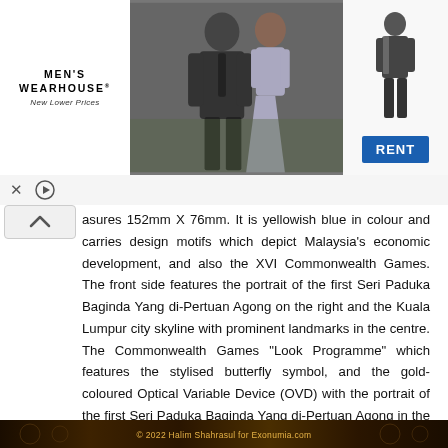[Figure (photo): Men's Wearhouse advertisement banner showing a couple in formal wear and a single male figure in a suit, with a blue RENT button]
asures 152mm X 76mm. It is yellowish blue in colour and carries design motifs which depict Malaysia's economic development, and also the XVI Commonwealth Games. The front side features the portrait of the first Seri Paduka Baginda Yang di-Pertuan Agong on the right and the Kuala Lumpur city skyline with prominent landmarks in the centre. The Commonwealth Games "Look Programme" which features the stylised butterfly symbol, and the gold-coloured Optical Variable Device (OVD) with the portrait of the first Seri Paduka Baginda Yang di-Pertuan Agong in the clear window, appear on the left.
[Figure (photo): Bottom strip showing decorative currency note design pattern]
© 2022 Halim Shahrasul for Exonumia.com